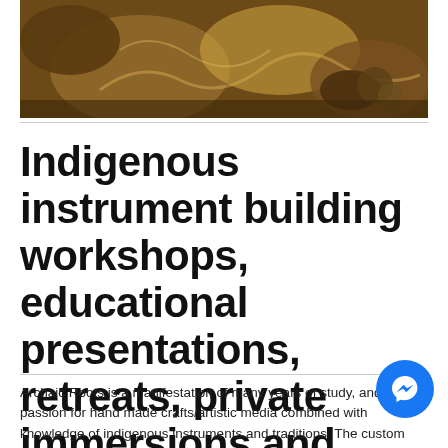[Figure (photo): A photograph showing hands working with natural materials, crafts, possibly feathers and leaves on a surface, with warm brown and golden tones.]
Indigenous instrument building workshops, educational presentations, retreats, private immersions and more...
Archaic Roots is a manifestation of many years of study, and passion for hand made crafts/artistic media combined with knowledge of indigenous instruments and traditions. The custom